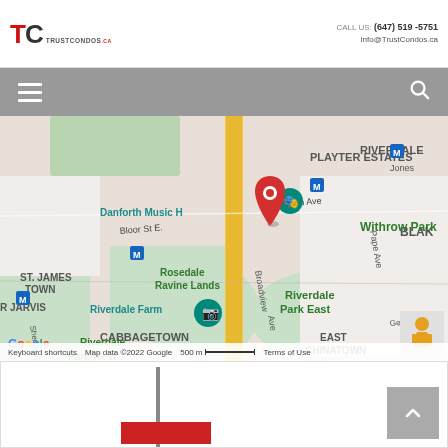TrustCondos.ca | CALL US: (647) 519-5751 | info@TrustCondos.ca
[Figure (other): Navigation bar with hamburger menu icon on left and search icon on right, gray background]
[Figure (map): Google Maps screenshot showing area around Danforth Music Hall, Toronto. Neighborhoods visible: Playter Estates, Riverdale, Blake, Withrow Park, St. James Town, R Jarvis, Rosedale Ravine Lands, Riverdale Park East, Riverdale Farm, Cabbagetown, East Chinatown. Streets: Danforth Ave, Bloor St E, Broadview Ave, Pape Ave, Sherbourne, Gerrard St. Metro (M) markers visible. Red map pin near Danforth Music Hall. Scale: 500m. Map data ©2022 Google.]
[Figure (other): Bottom section showing partial building image with back-to-top button (gray square with white up arrow) on right side]